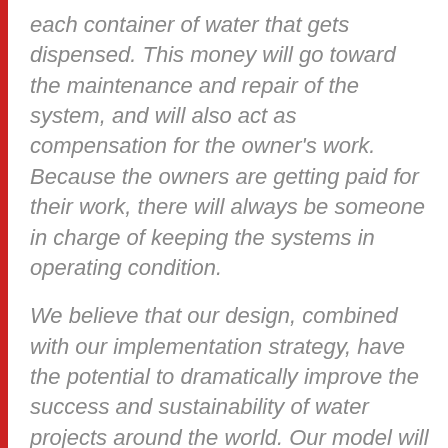each container of water that gets dispensed. This money will go toward the maintenance and repair of the system, and will also act as compensation for the owner's work. Because the owners are getting paid for their work, there will always be someone in charge of keeping the systems in operating condition.
We believe that our design, combined with our implementation strategy, have the potential to dramatically improve the success and sustainability of water projects around the world. Our model will not be validated, however, unless we take the first step of building the first ones in Rwanda this September. That is why it has been so helpful these past few weeks when donations have come from all over to raise more than $15,000 of our $20,000 fundraising goal on IndieGoGo. All of the